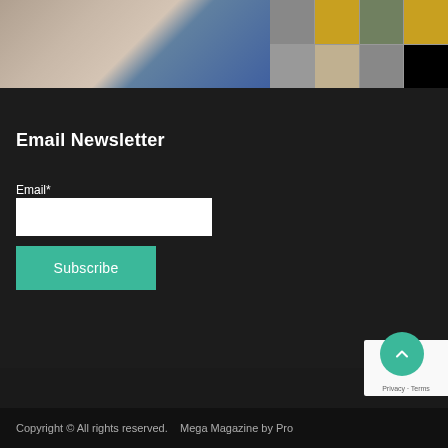[Figure (photo): Fashion website screenshot showing a woman's portrait on the left, a model in jeans in the center, and a grid of clothing thumbnails on the right]
Email Newsletter
Email*
Subscribe
Copyright © All rights reserved.   Mega Magazine by Pro